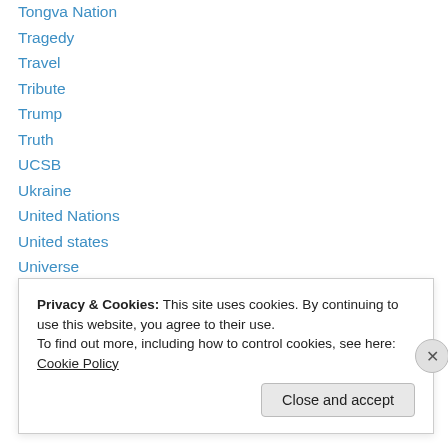Tongva Nation
Tragedy
Travel
Tribute
Trump
Truth
UCSB
Ukraine
United Nations
United states
Universe
USA
Valentine's Day
Privacy & Cookies: This site uses cookies. By continuing to use this website, you agree to their use.
To find out more, including how to control cookies, see here: Cookie Policy